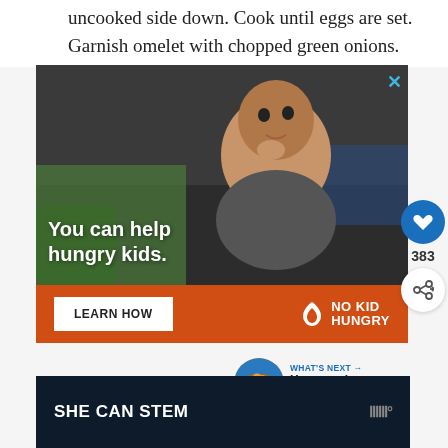uncooked side down. Cook until eggs are set. Garnish omelet with chopped green onions.
[Figure (photo): Advertisement photo of a young boy eating, with text overlay 'You can help hungry kids.' Orange banner at bottom with 'LEARN HOW' button and 'NO KID HUNGRY' logo.]
[Figure (infographic): What's Next panel showing 'Homemade Baked Swee...' with round food thumbnail]
[Figure (infographic): Bottom advertisement banner with dark background showing 'SHE CAN STEM' text and a logo]